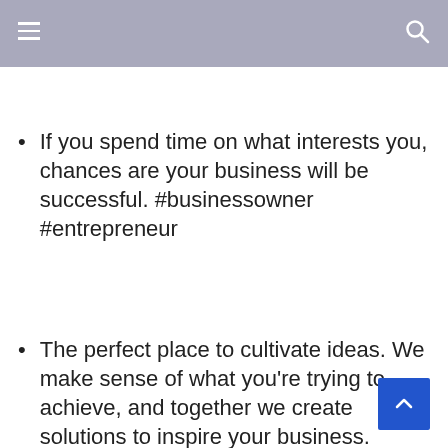If you spend time on what interests you, chances are your business will be successful. #businessowner #entrepreneur
The perfect place to cultivate ideas. We make sense of what you're trying to achieve, and together we create solutions to inspire your business. #MGap #wearemgap